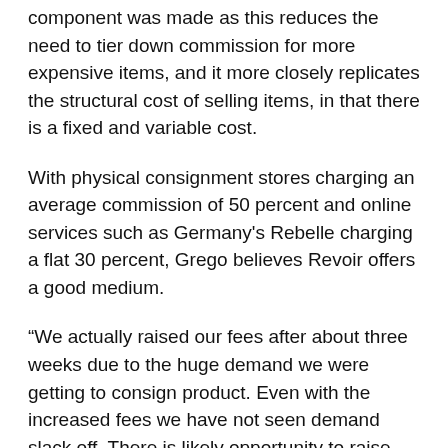Grego said the decision to add a fixed and variable component was made as this reduces the need to tier down commission for more expensive items, and it more closely replicates the structural cost of selling items, in that there is a fixed and variable cost.
With physical consignment stores charging an average commission of 50 percent and online services such as Germany's Rebelle charging a flat 30 percent, Grego believes Revoir offers a good medium.
“We actually raised our fees after about three weeks due to the huge demand we were getting to consign product. Even with the increased fees we have not seen demand slack off. There is likely opportunity to raise fees further if we want,” Grego said.
After test launching in August and officially in September, Grego said the startup’s prime focus is on Australian women aged between 35 and 45, in the higher income...